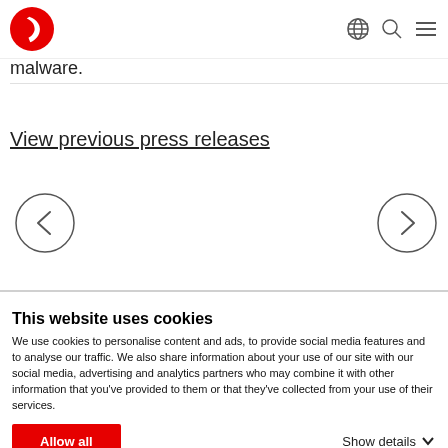Vodafone header navigation with logo, globe icon, search icon, and menu icon
malware.
View previous press releases
[Figure (other): Left navigation arrow button (circle with left chevron) and right navigation arrow button (circle with right chevron)]
This website uses cookies
We use cookies to personalise content and ads, to provide social media features and to analyse our traffic. We also share information about your use of our site with our social media, advertising and analytics partners who may combine it with other information that you've provided to them or that they've collected from your use of their services.
Allow all
Show details